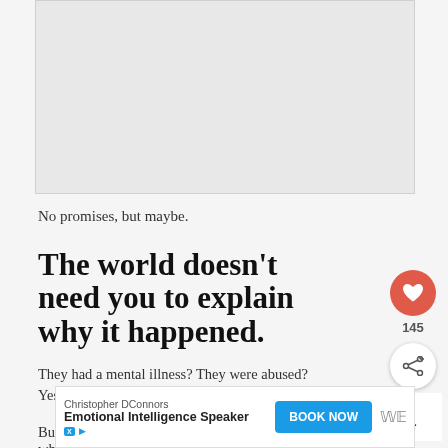[Figure (other): Gray placeholder image box at top of page]
No promises, but maybe.
The world doesn't need you to explain why it happened.
They had a mental illness? They were abused? Yes, horrible and devastating. Truly.
But it's not helpful to spend more time analyzing why
[Figure (other): Heart/like button icon (red circle with heart), count 145, and share button]
[Figure (other): What's Next widget: 13 Reasons Why: One...]
[Figure (other): Advertisement banner: Christopher DConnors, Emotional Intelligence Speaker, BOOK NOW button]